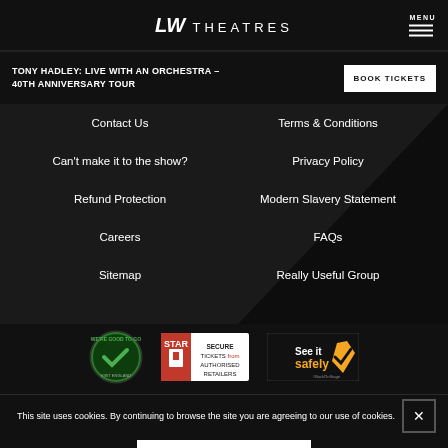LW THEATRES
TONY HADLEY: LIVE WITH AN ORCHESTRA – 40TH ANNIVERSARY TOUR
Contact Us
Terms & Conditions
Can't make it to the show?
Privacy Policy
Refund Protection
Modern Slavery Statement
Careers
FAQs
Sitemap
Really Useful Group
[Figure (logo): We're Good To Go - Visit England badge with green checkmark]
[Figure (logo): STAR Secure Tickets from Authorised Retailers badge]
[Figure (logo): See it safely badge with gold checkmark]
This site uses cookies. By continuing to browse the site you are agreeing to our use of cookies.
MORE INFO